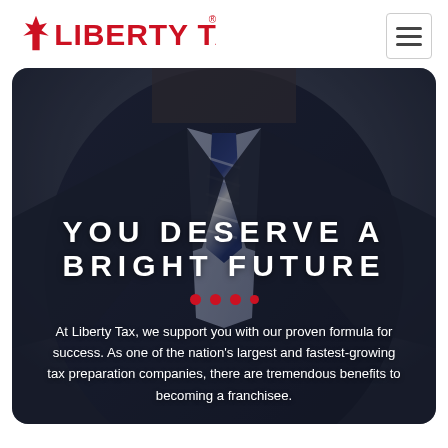[Figure (logo): Liberty Tax logo with red maple leaf and bold red text reading LIBERTY TAX with registered trademark symbol]
[Figure (photo): Background photo of a businessman in a dark suit and striped tie, torso and lower face visible, dark moody lighting]
YOU DESERVE A BRIGHT FUTURE
At Liberty Tax, we support you with our proven formula for success. As one of the nation's largest and fastest-growing tax preparation companies, there are tremendous benefits to becoming a franchisee.